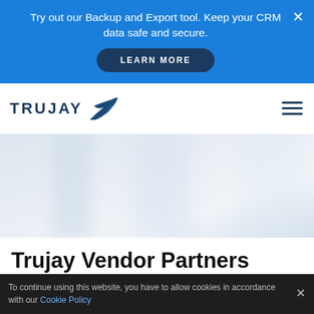Try out our Backup and Export tool. Keep your CRM data safe and secure. LEARN MORE
[Figure (logo): Trujay logo with stylized bird/arrow mark in dark blue]
[Figure (photo): Blurred light grey and white background hero image with soft column-like shapes]
Trujay Vendor Partners
Want to know more about Trujay vendor partners? Here
To continue using this website, you have to allow cookies in accordance with our Cookie Policy